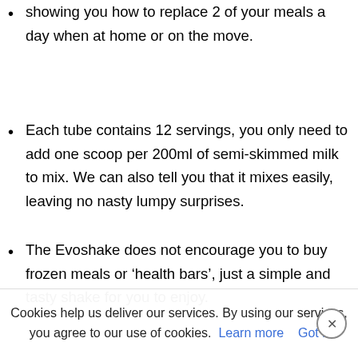showing you how to replace 2 of your meals a day when at home or on the move.
Each tube contains 12 servings, you only need to add one scoop per 200ml of semi-skimmed milk to mix. We can also tell you that it mixes easily, leaving no nasty lumpy surprises.
The Evoshake does not encourage you to buy frozen meals or 'health bars', just a simple and tasty shake for you to enjoy.
The 3 flavors include chocolate delight,
delicious vanilla and strawberry sensation. Dieting does not have to be boring and you can still enjoy some of your favourite flavours.
Cookies help us deliver our services. By using our services, you agree to our use of cookies. Learn more  Got it